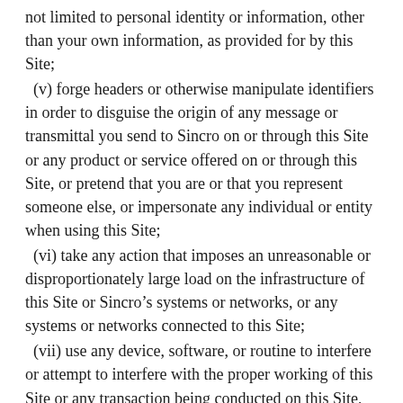not limited to personal identity or information, other than your own information, as provided for by this Site;
(v) forge headers or otherwise manipulate identifiers in order to disguise the origin of any message or transmittal you send to Sincro on or through this Site or any product or service offered on or through this Site, or pretend that you are or that you represent someone else, or impersonate any individual or entity when using this Site;
(vi) take any action that imposes an unreasonable or disproportionately large load on the infrastructure of this Site or Sincro’s systems or networks, or any systems or networks connected to this Site;
(vii) use any device, software, or routine to interfere or attempt to interfere with the proper working of this Site or any transaction being conducted on this Site, or with any other person’s use of this Site;